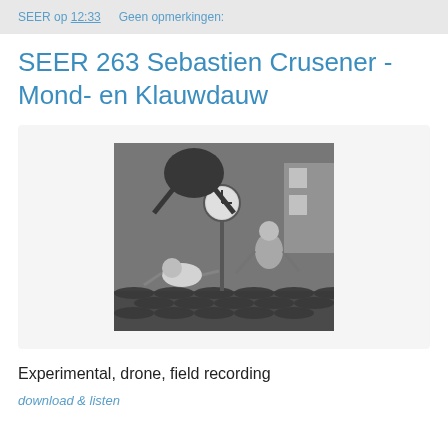SEER op 12:33    Geen opmerkingen:
SEER 263 Sebastien Crusener - Mond- en Klauwdauw
[Figure (photo): Black and white surrealist photograph showing figures on a rooftop with a clock, in acrobatic poses]
Experimental, drone, field recording
download & listen